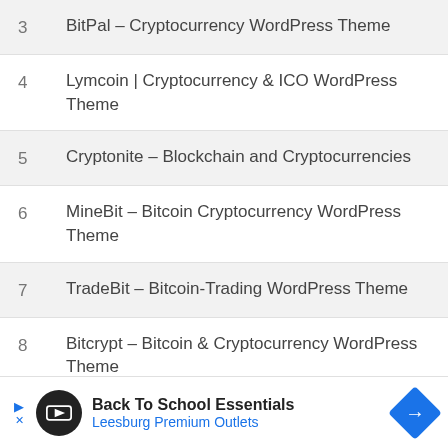3  BitPal – Cryptocurrency WordPress Theme
4  Lymcoin | Cryptocurrency & ICO WordPress Theme
5  Cryptonite – Blockchain and Cryptocurrencies
6  MineBit – Bitcoin Cryptocurrency WordPress Theme
7  TradeBit – Bitcoin-Trading WordPress Theme
8  Bitcrypt – Bitcoin & Cryptocurrency WordPress Theme
[Figure (infographic): Advertisement banner: Back To School Essentials – Leesburg Premium Outlets with navigation arrow icon]